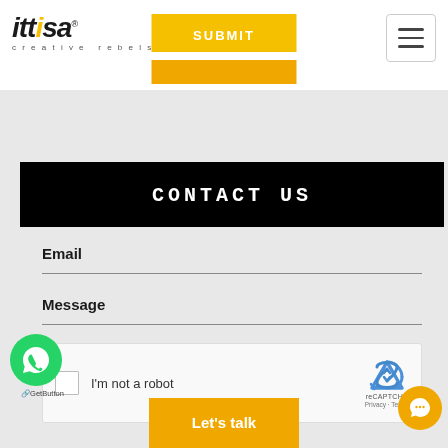[Figure (logo): ittisa creative rebels logo with yellow accent letters]
[Figure (screenshot): Yellow SUBMIT button in page header]
[Figure (screenshot): Hamburger menu icon in top right]
CONTACT US
Email
Message
[Figure (screenshot): reCAPTCHA widget with checkbox and I'm not a robot label]
[Figure (screenshot): Let's talk yellow button]
[Figure (screenshot): WhatsApp GetButton floating button]
[Figure (screenshot): Orange chat bubble floating button]